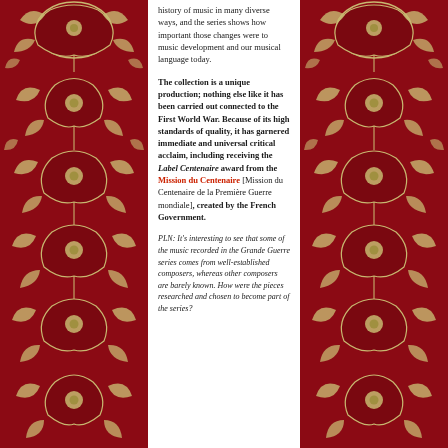[Figure (illustration): Decorative red floral/botanical border panel on the left side of the page, featuring cream/gold colored leaf and flower motifs on a deep red background]
history of music in many diverse ways, and the series shows how important those changes were to music development and our musical language today.
The collection is a unique production; nothing else like it has been carried out connected to the First World War. Because of its high standards of quality, it has garnered immediate and universal critical acclaim, including receiving the Label Centenaire award from the Mission du Centenaire [Mission du Centenaire de la Première Guerre mondiale], created by the French Government.
PLN: It's interesting to see that some of the music recorded in the Grande Guerre series comes from well-established composers, whereas other composers are barely known. How were the pieces researched and chosen to become part of the series?
[Figure (illustration): Decorative red floral/botanical border panel on the right side of the page, featuring cream/gold colored leaf and flower motifs on a deep red background]